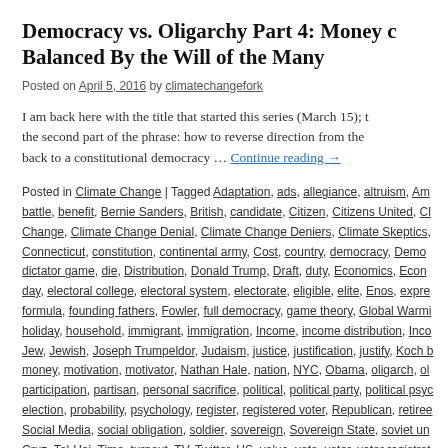Democracy vs. Oligarchy Part 4: Money c... Balanced By the Will of the Many
Posted on April 5, 2016 by climatechangefork
I am back here with the title that started this series (March 15); the second part of the phrase: how to reverse direction from the back to a constitutional democracy … Continue reading →
Posted in Climate Change | Tagged Adaptation, ads, allegiance, altruism, Am… battle, benefit, Bernie Sanders, British, candidate, Citizen, Citizens United, Cl… Change, Climate Change Denial, Climate Change Deniers, Climate Skeptics,… Connecticut, constitution, continental army, Cost, country, democracy, Democ… dictator game, die, Distribution, Donald Trump, Draft, duty, Economics, Econ… day, electoral college, electoral system, electorate, eligible, elite, Enos, expre… formula, founding fathers, Fowler, full democracy, game theory, Global Warmi… holiday, household, immigrant, immigration, Income, income distribution, Inco… Jew, Jewish, Joseph Trumpeldor, Judaism, justice, justification, justify, Koch b… money, motivation, motivator, Nathan Hale, nation, NYC, Obama, oligarch, ol… participation, partisan, personal sacrifice, political, political party, political psyc… election, probability, psychology, register, registered voter, Republican, retiree… Social Media, social obligation, soldier, sovereign, Sovereign State, soviet un… Cruz, Tel-Hai, Time, turnout, TV, Twitter, US, value, vote, voter, voter registrat… Population, worth, worth it | Leave a comment